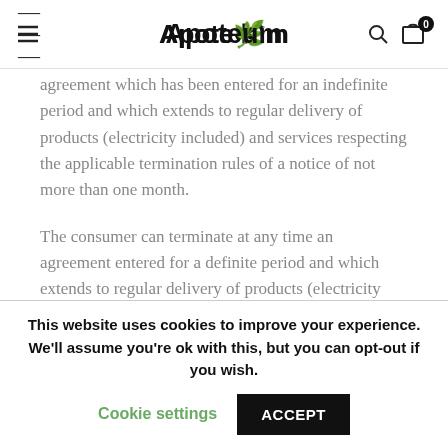Apoteum
agreement which has been entered for an indefinite period and which extends to regular delivery of products (electricity included) and services respecting the applicable termination rules of a notice of not more than one month.
The consumer can terminate at any time an agreement entered for a definite period and which extends to regular delivery of products (electricity included) or service at the end of the definite period respecting the applicable
This website uses cookies to improve your experience. We'll assume you're ok with this, but you can opt-out if you wish. Cookie settings ACCEPT